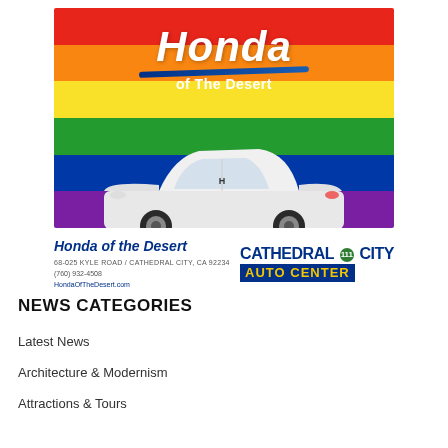[Figure (illustration): Honda of the Desert advertisement with rainbow flag background, white Honda Accord sedan, Cathedral City Auto Center logo, address 68-025 Kyle Road, Cathedral City, CA 92234, phone (760) 932-4508, HondaOfTheDesert.com]
NEWS CATEGORIES
Latest News
Architecture & Modernism
Attractions & Tours